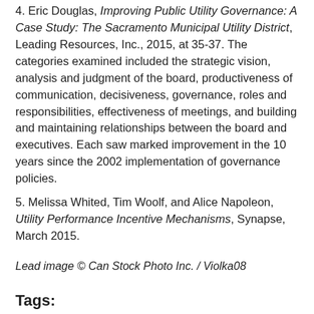4. Eric Douglas, Improving Public Utility Governance: A Case Study: The Sacramento Municipal Utility District, Leading Resources, Inc., 2015, at 35-37. The categories examined included the strategic vision, analysis and judgment of the board, productiveness of communication, decisiveness, governance, roles and responsibilities, effectiveness of meetings, and building and maintaining relationships between the board and executives. Each saw marked improvement in the 10 years since the 2002 implementation of governance policies.
5. Melissa Whited, Tim Woolf, and Alice Napoleon, Utility Performance Incentive Mechanisms, Synapse, March 2015.
Lead image © Can Stock Photo Inc. / Violka08
Tags: